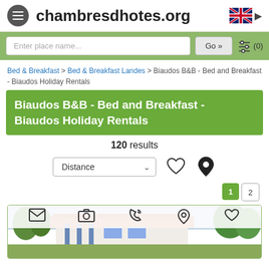chambresdhotes.org
Enter place name... Go »  (0)
Bed & Breakfast > Bed & Breakfast Landes > Biaudos B&B - Bed and Breakfast - Biaudos Holiday Rentals
Biaudos B&B - Bed and Breakfast - Biaudos Holiday Rentals
120 results
Distance
[Figure (screenshot): Property photo showing a white house with terracotta roof and blue shutters surrounded by trees]
1  2